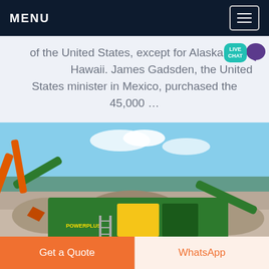MENU
of the United States, except for Alaska and Hawaii. James Gadsden, the United States minister in Mexico, purchased the 45,000 …
[Figure (photo): A green mobile crushing/screening machine (Powerplus brand) at a quarry or construction site, with an orange excavator arm visible on the left, rock/gravel piles in the background, and a blue sky with light clouds.]
Get a Quote
WhatsApp